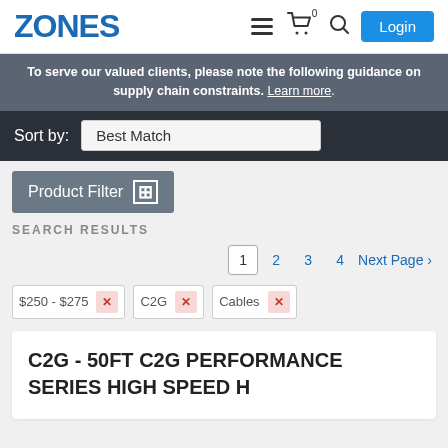ZONES | Login
To serve our valued clients, please note the following guidance on supply chain constraints. Learn more.
Sort by: Best Match
Product Filter
SEARCH RESULTS
1 2 3 4 Next Page >
$250 - $275 × C2G × Cables ×
C2G - 50FT C2G PERFORMANCE SERIES HIGH SPEED H